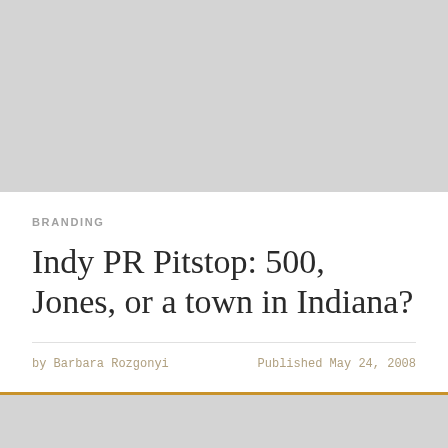[Figure (other): Gray placeholder image area at top of page]
BRANDING
Indy PR Pitstop: 500, Jones, or a town in Indiana?
by Barbara Rozgonyi   Published May 24, 2008
[Figure (other): Gray placeholder image area at bottom with English language badge showing US flag emoji]